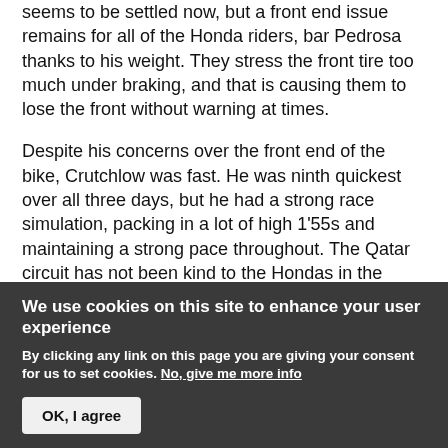seems to be settled now, but a front end issue remains for all of the Honda riders, bar Pedrosa thanks to his weight. They stress the front tire too much under braking, and that is causing them to lose the front without warning at times.

Despite his concerns over the front end of the bike, Crutchlow was fast. He was ninth quickest over all three days, but he had a strong race simulation, packing in a lot of high 1'55s and maintaining a strong pace throughout. The Qatar circuit has not been kind to the Hondas in the past, but being competitive is reason for optimism.
We use cookies on this site to enhance your user experience
By clicking any link on this page you are giving your consent for us to set cookies. No, give me more info
OK, I agree